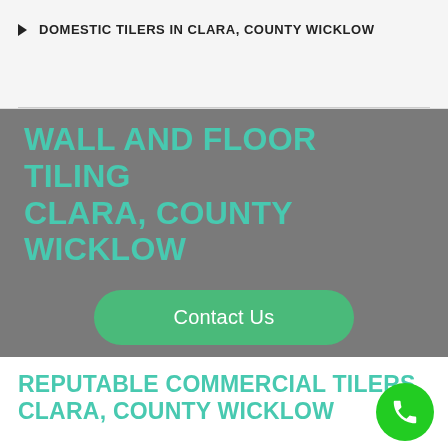DOMESTIC TILERS IN CLARA, COUNTY WICKLOW
WALL AND FLOOR TILING CLARA, COUNTY WICKLOW
Contact Us
REPUTABLE COMMERCIAL TILERS CLARA, COUNTY WICKLOW